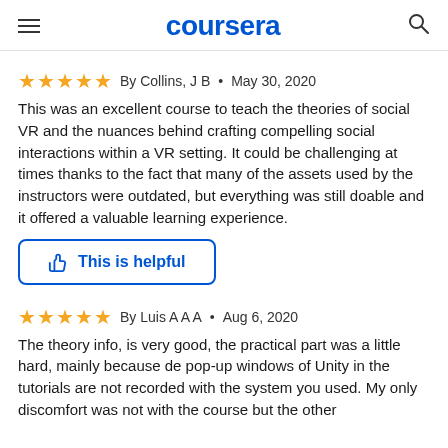coursera
★★★★★  By Collins, J B  •  May 30, 2020
This was an excellent course to teach the theories of social VR and the nuances behind crafting compelling social interactions within a VR setting. It could be challenging at times thanks to the fact that many of the assets used by the instructors were outdated, but everything was still doable and it offered a valuable learning experience.
👍 This is helpful
★★★★★  By Luis A A A  •  Aug 6, 2020
The theory info, is very good, the practical part was a little hard, mainly because de pop-up windows of Unity in the tutorials are not recorded with the system you used. My only discomfort was not with the course but the other